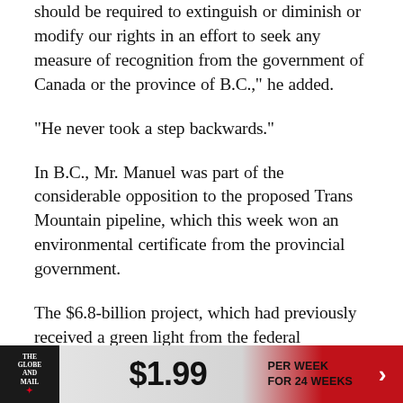should be required to extinguish or diminish or modify our rights in an effort to seek any measure of recognition from the government of Canada or the province of B.C.," he added.
"He never took a step backwards."
In B.C., Mr. Manuel was part of the considerable opposition to the proposed Trans Mountain pipeline, which this week won an environmental certificate from the provincial government.
The $6.8-billion project, which had previously received a green light from the federal government, would triple capacity of the Kinder Morgan pipeline that runs from Edmonton to
[Figure (other): The Globe and Mail advertisement banner: logo on left, $1.99 per week for 24 weeks offer, red arrow chevron on right]